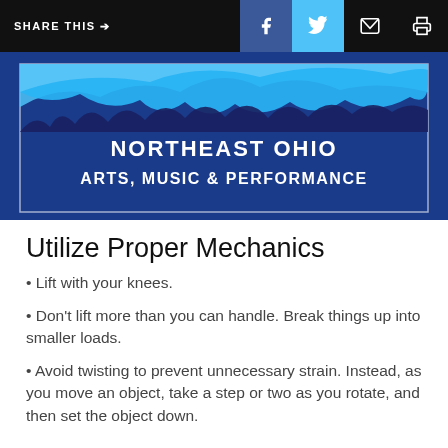SHARE THIS → f (Facebook) (Twitter) (Email) (Print)
[Figure (illustration): Northeast Ohio Arts, Music & Performance banner with blue watercolor paint splash on dark navy background]
Utilize Proper Mechanics
Lift with your knees.
Don't lift more than you can handle. Break things up into smaller loads.
Avoid twisting to prevent unnecessary strain. Instead, as you move an object, take a step or two as you rotate, and then set the object down.